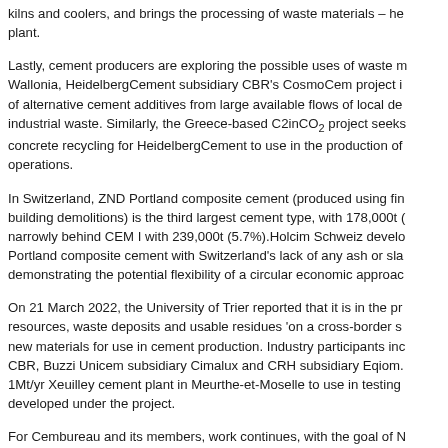kilns and coolers, and brings the processing of waste materials – he plant.
Lastly, cement producers are exploring the possible uses of waste m Wallonia, HeidelbergCement subsidiary CBR's CosmoCem project i of alternative cement additives from large available flows of local de industrial waste. Similarly, the Greece-based C2inCO2 project seeks concrete recycling for HeidelbergCement to use in the production of operations.
In Switzerland, ZND Portland composite cement (produced using fi building demolitions) is the third largest cement type, with 178,000t narrowly behind CEM I with 239,000t (5.7%).Holcim Schweiz develo Portland composite cement with Switzerland's lack of any ash or sla demonstrating the potential flexibility of a circular economic approac
On 21 March 2022, the University of Trier reported that it is in the p resources, waste deposits and usable residues 'on a cross-border s new materials for use in cement production. Industry participants inc CBR, Buzzi Unicem subsidiary Cimalux and CRH subsidiary Eqiom. 1Mt/yr Xeuilley cement plant in Meurthe-et-Moselle to use in testing developed under the project.
For Cembureau and its members, work continues, with the goal of N sight. This goal includes a reduction in members' clinker-to-cement r this, the association and its members are working towards a world m